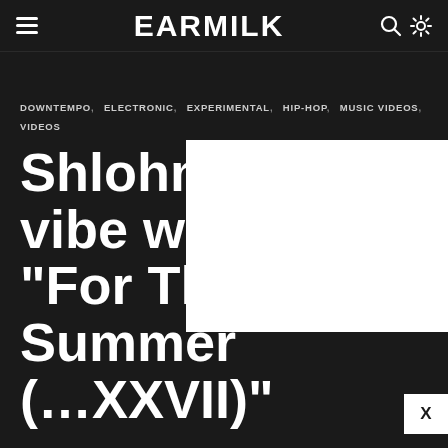EARMILK
DOWNTEMPO, ELECTRONIC, EXPERIMENTAL, HIP-HOP, MUSIC VIDEOS, VIDEOS
Shlohmo vibe with "For Tha Summer (... XXVII)"
[Figure (other): White overlay box obscuring part of article title, with X close button]